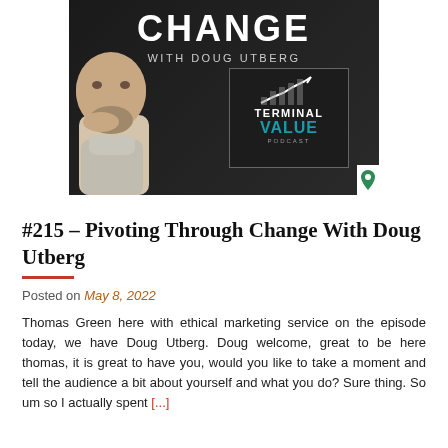[Figure (photo): Podcast cover image for 'Pivoting Through Change with Doug Utberg' — Terminal Value Podcast. Dark background with a man's face on the left and the Terminal Value Podcast logo box on the right showing an upward arrow chart graphic. Text reads CHANGE at top, WITH DOUG UTBERG below, and TERMINAL VALUE PODCAST in the logo box.]
#215 – Pivoting Through Change With Doug Utberg
Posted on May 8, 2022
Thomas Green here with ethical marketing service on the episode today, we have Doug Utberg. Doug welcome, great to be here thomas, it is great to have you, would you like to take a moment and tell the audience a bit about yourself and what you do? Sure thing. So um so I actually spent [...]